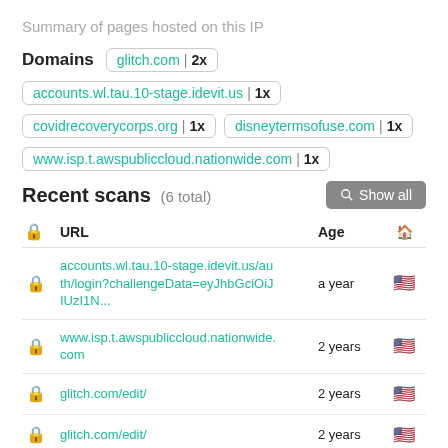Summary of pages hosted on this IP
Domains  glitch.com | 2x
accounts.wl.tau.10-stage.idevit.us | 1x
covidrecoverycorps.org | 1x    disneytermsofuse.com | 1x
www.isp.t.awspubliccloud.nationwide.com | 1x
Recent scans (6 total)
Show all
| (lock) | URL | Age | (flag) |
| --- | --- | --- | --- |
| (lock) | accounts.wl.tau.10-stage.idevit.us/auth/login?challengeData=eyJhbGciOiJIUzI1N... | a year | US |
| (lock) | www.isp.t.awspubliccloud.nationwide.com | 2 years | US |
| (lock) | glitch.com/edit/ | 2 years | US |
| (lock) | glitch.com/edit/ | 2 years | US |